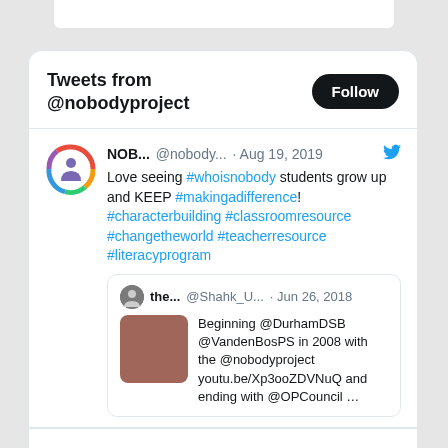Tweets from @nobodyproject
NOB... @nobody... · Aug 19, 2019
Love seeing #whoisnobody students grow up and KEEP #makingadifference! #characterbuilding #classroomresource #changetheworld #teacherresource #literacyprogram
the... @Shahk_U... · Jun 26, 2018
Beginning @DurhamDSB @VandenBosPS in 2008 with the @nobodyproject youtu.be/Xp3ooZDVNuQ and ending with @OPCouncil …